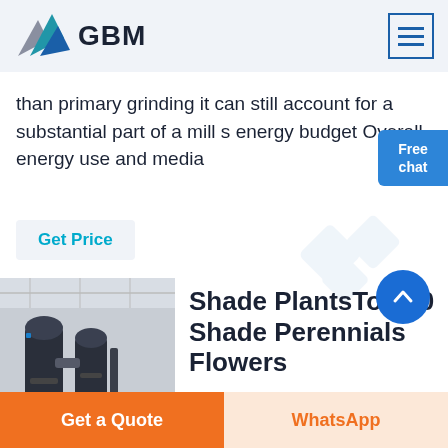GBM
than primary grinding it can still account for a substantial part of a mill s energy budget Overall energy use and media
Get Price
[Figure (photo): Industrial machinery in a factory setting, showing large cylindrical processing equipment]
Shade PlantsTop 20 Shade Perennials Flowers
More
Get a Quote   WhatsApp